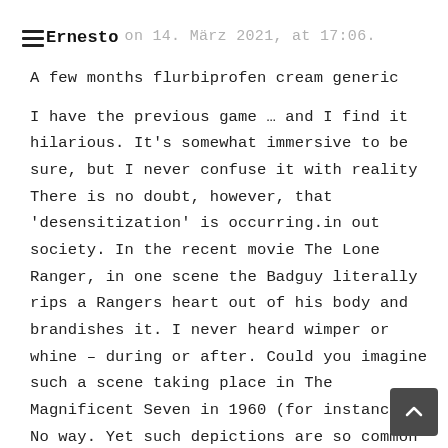Ernesto on 14. März 2021, at 17:06.
A few months flurbiprofen cream generic
I have the previous game … and I find it hilarious. It's somewhat immersive to be sure, but I never confuse it with reality There is no doubt, however, that 'desensitization' is occurring.in out society. In the recent movie The Lone Ranger, in one scene the Badguy literally rips a Rangers heart out of his body and brandishes it. I never heard wimper or whine – during or after. Could you imagine such a scene taking place in The Magnificent Seven in 1960 (for instance)?? No way. Yet such depictions are so common now that we can find on TV any day of the